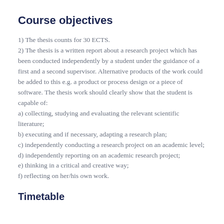Course objectives
1) The thesis counts for 30 ECTS.
2) The thesis is a written report about a research project which has been conducted independently by a student under the guidance of a first and a second supervisor. Alternative products of the work could be added to this e.g. a product or process design or a piece of software. The thesis work should clearly show that the student is capable of:
a) collecting, studying and evaluating the relevant scientific literature;
b) executing and if necessary, adapting a research plan;
c) independently conducting a research project on an academic level;
d) independently reporting on an academic research project;
e) thinking in a critical and creative way;
f) reflecting on her/his own work.
Timetable